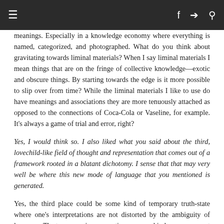≡   f  🐦  🔍
meanings. Especially in a knowledge economy where everything is named, categorized, and photographed. What do you think about gravitating towards liminal materials? When I say liminal materials I mean things that are on the fringe of collective knowledge—exotic and obscure things. By starting towards the edge is it more possible to slip over from time? While the liminal materials I like to use do have meanings and associations they are more tenuously attached as opposed to the connections of Coca-Cola or Vaseline, for example. It's always a game of trial and error, right?
Yes, I would think so. I also liked what you said about the third, lovechild-like field of thought and representation that comes out of a framework rooted in a blatant dichotomy. I sense that that may very well be where this new mode of language that you mentioned is generated.
Yes, the third place could be some kind of temporary truth-state where one's interpretations are not distorted by the ambiguity of language. The two opposing perceptions wrapped in language are set into motion and with some luck they arrive at